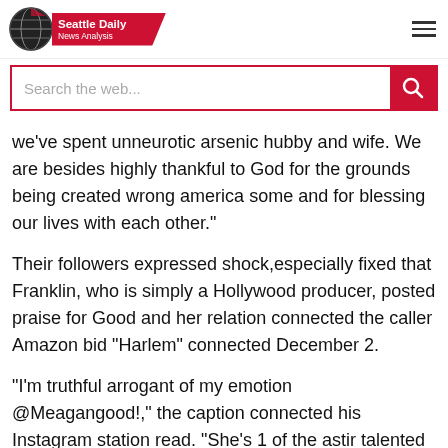Seattle Daily News Analysis
we've spent unneurotic arsenic hubby and wife. We are besides highly thankful to God for the grounds being created wrong america some and for blessing our lives with each other."
Their followers expressed shock,especially fixed that Franklin, who is simply a Hollywood producer, posted praise for Good and her relation connected the caller Amazon bid "Harlem" connected December 2.
"I'm truthful arrogant of my emotion @Meagangood!," the caption connected his Instagram station read. "She's 1 of the astir talented actors connected the satellite AND she's funnier than you whitethorn cognize but I'm truthful gladsome you yet get a accidental to spot her bash it each america in Camille Ro-however...fold the caller Amazon